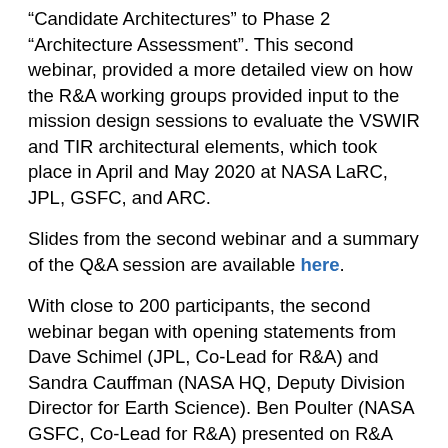“Candidate Architectures” to Phase 2 “Architecture Assessment”. This second webinar, provided a more detailed view on how the R&A working groups provided input to the mission design sessions to evaluate the VSWIR and TIR architectural elements, which took place in April and May 2020 at NASA LaRC, JPL, GSFC, and ARC.
Slides from the second webinar and a summary of the Q&A session are available here.
With close to 200 participants, the second webinar began with opening statements from Dave Schimel (JPL, Co-Lead for R&A) and Sandra Cauffman (NASA HQ, Deputy Division Director for Earth Science). Ben Poulter (NASA GSFC, Co-Lead for R&A) presented on R&A inputs to the design sessions and Dave Bearden (JPL, Co-Lead for Phase 2) presented on the SBG architectural design and down selection process. The R&A presentation highlighted key themes from the four working groups and how these were used to guide the trade-decisions made during the mission design labs. For example, the algorithm’s working group carried out an assessment of how many algorithms can be achieved with the ‘threshold’ capability